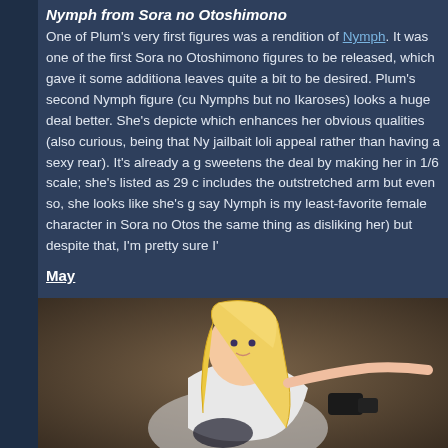Nymph from Sora no Otoshimono
One of Plum's very first figures was a rendition of Nymph. It was one of the first Sora no Otoshimono figures to be released, which gave it some additional notoriety, but the figure itself leaves quite a bit to be desired. Plum's second Nymph figure (currently Plum has made two Nymphs but no Ikaroses) looks a huge deal better. She's depicted from behind, which enhances her obvious qualities (also curious, being that Nymph is more known for her jailbait loli appeal rather than having a sexy rear). It's already a good-looking figure, but Plum sweetens the deal by making her in 1/6 scale; she's listed as 29 cm, which presumably includes the outstretched arm but even so, she looks like she's going to be sizable. I'd have to say Nymph is my least-favorite female character in Sora no Otoshimono (though that's not the same thing as disliking her) but despite that, I'm pretty sure I'll
May
[Figure (photo): Anime figure of a blonde female character in a white outfit, photographed against a dark background]